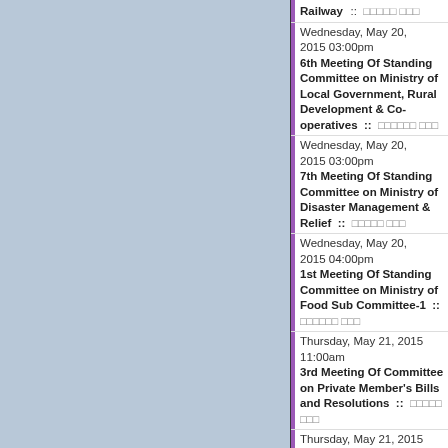Railway :: [garbled text]
Wednesday, May 20, 2015 03:00pm
6th Meeting Of Standing Committee on Ministry of Local Government, Rural Development & Co-operatives :: [garbled text]
Wednesday, May 20, 2015 03:00pm
7th Meeting Of Standing Committee on Ministry of Disaster Management & Relief :: [garbled text]
Wednesday, May 20, 2015 04:00pm
1st Meeting Of Standing Committee on Ministry of Food Sub Committee-1 :: [garbled text]
Thursday, May 21, 2015 11:00am
3rd Meeting Of Committee on Private Member's Bills and Resolutions :: [garbled text]
Thursday, May 21, 2015 11:00am
6th Meeting Of M...